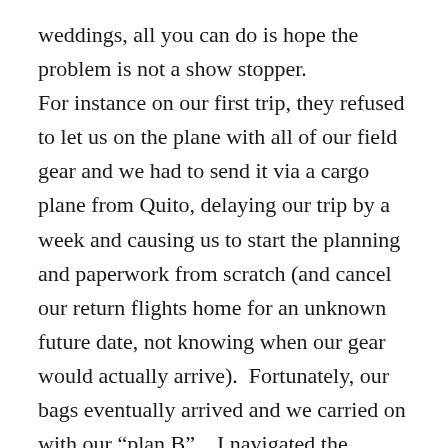weddings, all you can do is hope the problem is not a show stopper. For instance on our first trip, they refused to let us on the plane with all of our field gear and we had to send it via a cargo plane from Quito, delaying our trip by a week and causing us to start the planning and paperwork from scratch (and cancel our return flights home for an unknown future date, not knowing when our gear would actually arrive).  Fortunately, our bags eventually arrived and we carried on with our “plan B”.   I navigated the language barrier through the pile of paperwork, logistics and quarantine completely naïve to the many subtleties of the process (signatures, stamps, formalities). In retrospect, it is nothing short of a miracle that it all got